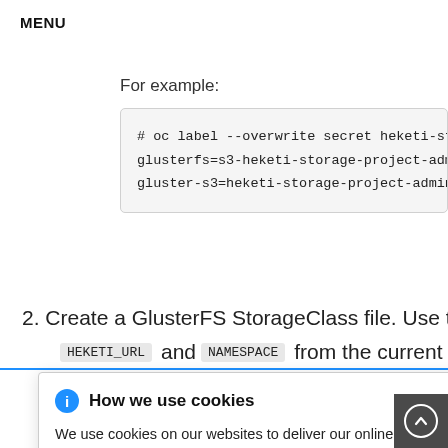MENU
For example:
# oc label --overwrite secret heketi-sto
glusterfs=s3-heketi-storage-project-admi
gluster-s3=heketi-storage-project-admin-
2. Create a GlusterFS StorageClass file. Use the HEKETI_URL and NAMESPACE from the current e.
How we use cookies
We use cookies on our websites to deliver our online services. Details about how we use cookies and how you may disable them are set out in our Privacy Statement. By using this website you agree to our use of cookies.
_URL>/g'
--storage-